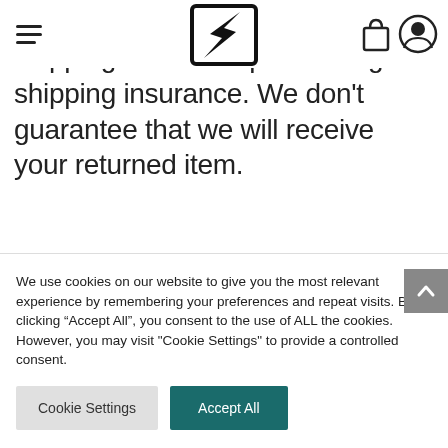Navigation header with hamburger menu, logo, shopping bag icon, and user icon
shipping service or purchasing shipping insurance. We don’t guarantee that we will receive your returned item.
Need help?
We use cookies on our website to give you the most relevant experience by remembering your preferences and repeat visits. By clicking “Accept All”, you consent to the use of ALL the cookies. However, you may visit "Cookie Settings" to provide a controlled consent.